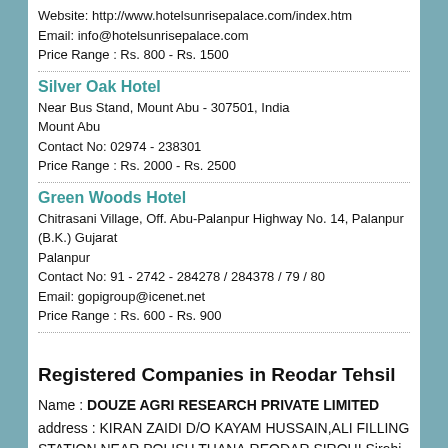Website: http://www.hotelsunrisepalace.com/index.htm
Email: info@hotelsunrisepalace.com
Price Range : Rs. 800 - Rs. 1500
Silver Oak Hotel
Near Bus Stand, Mount Abu - 307501, India
Mount Abu
Contact No: 02974 - 238301
Price Range : Rs. 2000 - Rs. 2500
Green Woods Hotel
Chitrasani Village, Off. Abu-Palanpur Highway No. 14, Palanpur (B.K.) Gujarat
Palanpur
Contact No: 91 - 2742 - 284278 / 284378 / 79 / 80
Email: gopigroup@icenet.net
Price Range : Rs. 600 - Rs. 900
Registered Companies in Reodar Tehsil
Name : DOUZE AGRI RESEARCH PRIVATE LIMITED
address : KIRAN ZAIDI D/O KAYAM HUSSAIN,ALI FILLING STATION,NEAR POLISH THANA,REODAR SIROHI Sirohi RJ IN 307514
Name : BATCHBITS TECHNOLOGIES PRIVATE LIMITED